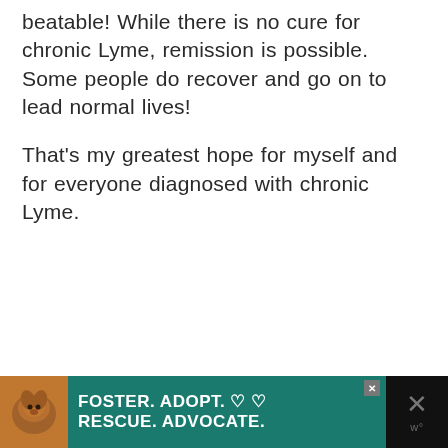beatable! While there is no cure for chronic Lyme, remission is possible. Some people do recover and go on to lead normal lives!

That's my greatest hope for myself and for everyone diagnosed with chronic Lyme.
[Figure (other): Advertisement banner at bottom: dog photo on left, teal background with text 'FOSTER. ADOPT. RESCUE. ADVOCATE.' with heart icons, close button, and right panel with X and W icons]